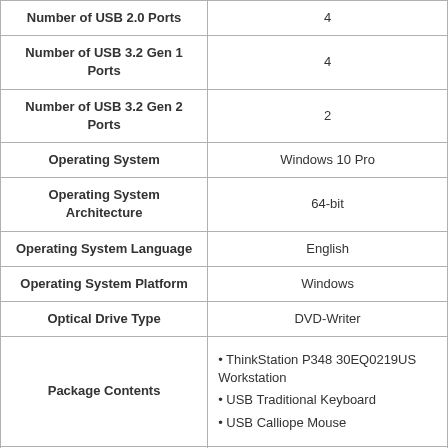| Attribute | Value |
| --- | --- |
| Number of USB 2.0 Ports | 4 |
| Number of USB 3.2 Gen 1 Ports | 4 |
| Number of USB 3.2 Gen 2 Ports | 2 |
| Operating System | Windows 10 Pro |
| Operating System Architecture | 64-bit |
| Operating System Language | English |
| Operating System Platform | Windows |
| Optical Drive Type | DVD-Writer |
| Package Contents | ThinkStation P348 30EQ0219US Workstation; USB Traditional Keyboard; USB Calliope Mouse |
| Processor Core | Octa-core (8 Core) |
| Processor Generation | 11th Gen |
| Processor Manufacturer | Intel |